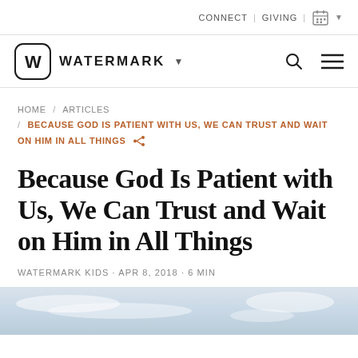CONNECT | GIVING | [calendar icon] [dropdown arrow]
[Figure (logo): Watermark community church logo: square with rounded corners containing stylized W, followed by WATERMARK wordmark with dropdown arrow]
HOME / ARTICLES / BECAUSE GOD IS PATIENT WITH US, WE CAN TRUST AND WAIT ON HIM IN ALL THINGS [share icon]
Because God Is Patient with Us, We Can Trust and Wait on Him in All Things
WATERMARK KIDS · APR 8, 2018 · 6 MIN
[Figure (photo): Sky and clouds photo used as hero/banner image at bottom of page]